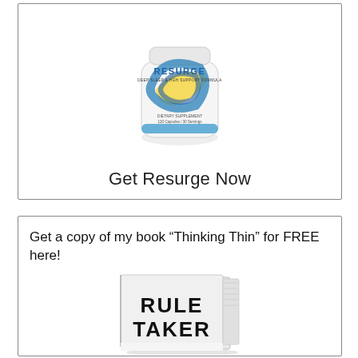[Figure (photo): Resurge dietary supplement bottle — Deep Sleep & HGH Support Formula, 120 Capsules / 30 Servings, with blue and yellow circular logo design]
Get Resurge Now
Get a copy of my book “Thinking Thin” for FREE here!
[Figure (photo): Partially visible book with bold text on cover reading RULE TAKER (or similar), white book with black bold text]